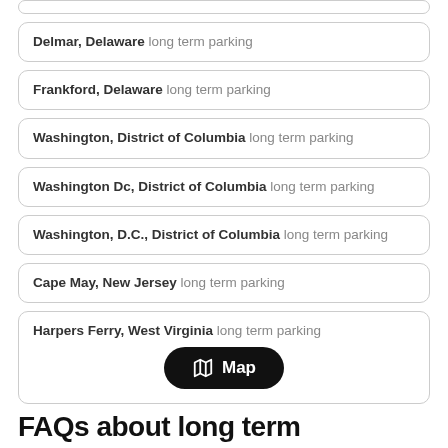Delmar, Delaware long term parking
Frankford, Delaware long term parking
Washington, District of Columbia long term parking
Washington Dc, District of Columbia long term parking
Washington, D.C., District of Columbia long term parking
Cape May, New Jersey long term parking
Harpers Ferry, West Virginia long term parking
FAQs about long term